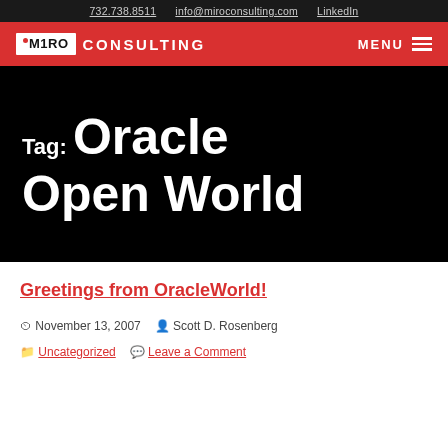732.738.8511   info@miroconsulting.com   LinkedIn
[Figure (logo): Miro Consulting logo with red background navigation bar and MENU hamburger icon]
Tag: Oracle Open World
Greetings from OracleWorld!
November 13, 2007   Scott D. Rosenberg   Uncategorized   Leave a Comment